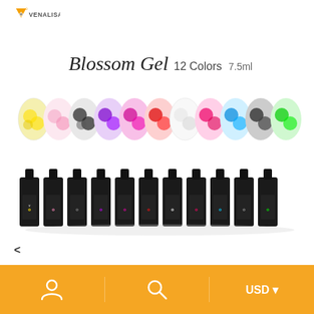[Figure (logo): Venalisa brand logo with orange V diamond shape and text VENALISA]
[Figure (photo): Venalisa Blossom Gel product page showing 12 nail art swatches in floral rose designs in various colors (yellow, pink, black/white, purple, magenta, red, white, hot pink, cyan/blue, dark grey, green) above 12 matching gel polish bottles arranged in a row]
< USD